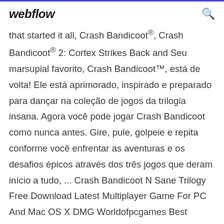webflow
that started it all, Crash Bandicoot®, Crash Bandicoot® 2: Cortex Strikes Back and Seu marsupial favorito, Crash Bandicoot™, está de volta! Ele está aprimorado, inspirado e preparado para dançar na coleção de jogos da trilogia insana. Agora você pode jogar Crash Bandicoot como nunca antes. Gire, pule, golpeie e repita conforme você enfrentar as aventuras e os desafios épicos através dos três jogos que deram início a tudo, ... Crash Bandicoot N Sane Trilogy Free Download Latest Multiplayer Game For PC And Mac OS X DMG Worldofpcgames Best Website To Download Free Games For PC And Mac 2018 Multiplayer Reloaded CPY Repack How To Download Crash